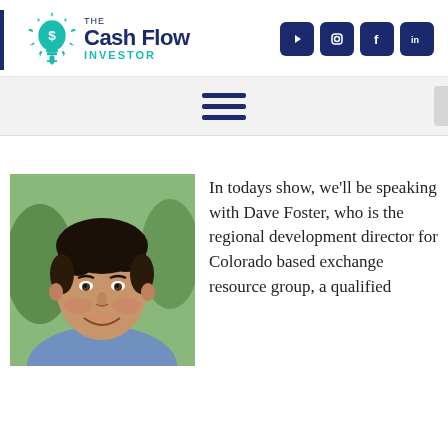[Figure (logo): The Cash Flow Investor logo with teal lightbulb/dollar sign icon, dark navy text, and social media icons (YouTube, Instagram, Facebook, LinkedIn)]
[Figure (other): Hamburger menu navigation icon (three horizontal lines) on light gray background]
[Figure (photo): Headshot photo of Dave Foster, a middle-aged man with dark hair, smiling, wearing a blue shirt, outdoors with trees in background]
In todays show, we'll be speaking with Dave Foster, who is the regional development director for Colorado based exchange resource group, a qualified